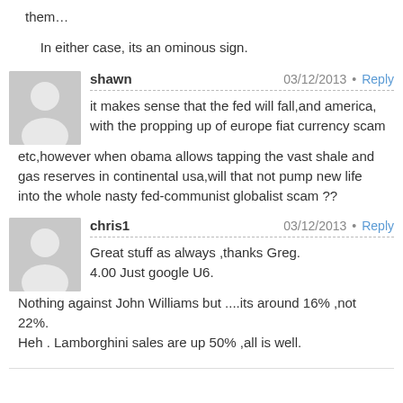them…
In either case, its an ominous sign.
shawn   03/12/2013 • Reply
it makes sense that the fed will fall,and america, with the propping up of europe fiat currency scam etc,however when obama allows tapping the vast shale and gas reserves in continental usa,will that not pump new life into the whole nasty fed-communist globalist scam ??
chris1   03/12/2013 • Reply
Great stuff as always ,thanks Greg.
4.00 Just google U6.
Nothing against John Williams but ....its around 16% ,not 22%.
Heh . Lamborghini sales are up 50% ,all is well.